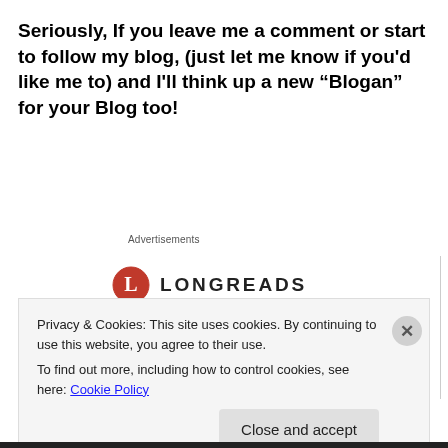Seriously, If you leave me a comment or start to follow my blog, (just let me know if you'd like me to) and I'll think up a new “Blogan” for your Blog too!
Advertisements
[Figure (logo): Longreads logo: red circle with white L, followed by LONGREADS in bold caps]
Bringing you the best stories on the web since 2009.
Privacy & Cookies: This site uses cookies. By continuing to use this website, you agree to their use.
To find out more, including how to control cookies, see here: Cookie Policy